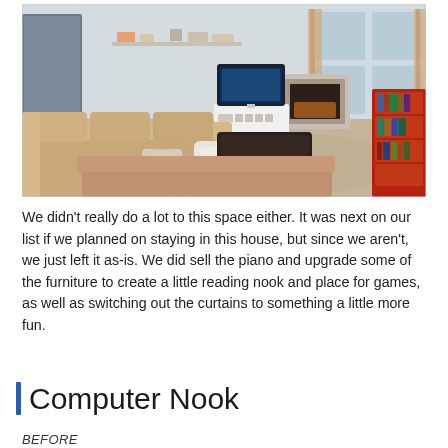[Figure (photo): Interior photo of a living room with a large beige sectional sofa, dark ottoman, white TV stand with TV, fireplace, red bookshelf, and windows with plaid curtains. Light gray walls with patterned carpet.]
We didn't really do a lot to this space either. It was next on our list if we planned on staying in this house, but since we aren't, we just left it as-is. We did sell the piano and upgrade some of the furniture to create a little reading nook and place for games, as well as switching out the curtains to something a little more fun.
Computer Nook
BEFORE